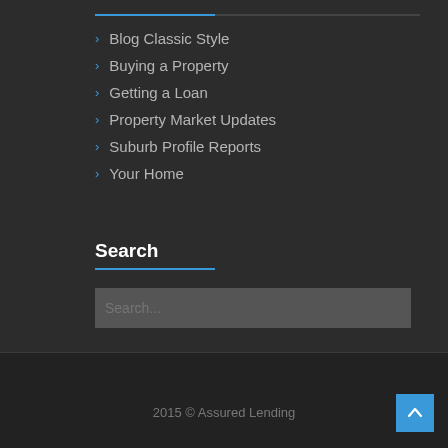Blog Classic Style
Buying a Property
Getting a Loan
Property Market Updates
Suburb Profile Reports
Your Home
Search
Search...
2015 © Assured Lending